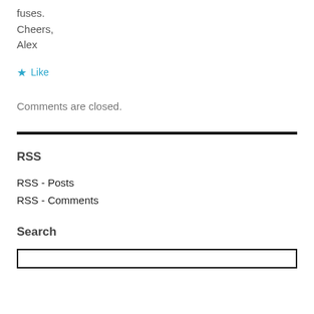fuses.
Cheers,
Alex
★ Like
Comments are closed.
RSS
RSS - Posts
RSS - Comments
Search